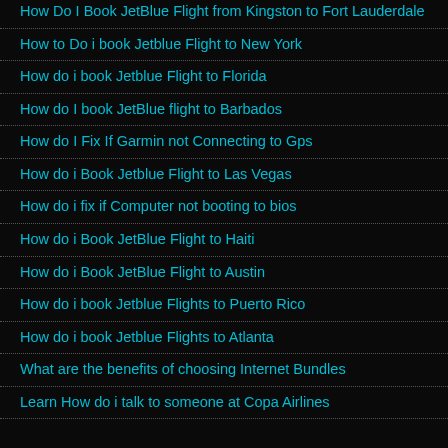How Do I Book JetBlue Flight from Kingston to Fort Lauderdale
How to Do i book Jetblue Flight to New York
How do i book Jetblue Flight to Florida
How do I book JetBlue flight to Barbados
How do I Fix If Garmin not Connecting to Gps
How do i Book Jetblue Flight to Las Vegas
How do i fix if Computer not booting to bios
How do i Book JetBlue Flight to Haiti
How do i Book JetBlue Flight to Austin
How do i book Jetblue Flights to Puerto Rico
How do i book Jetblue Flights to Atlanta
What are the benefits of choosing Internet Bundles
Learn How do i talk to someone at Copa Airlines